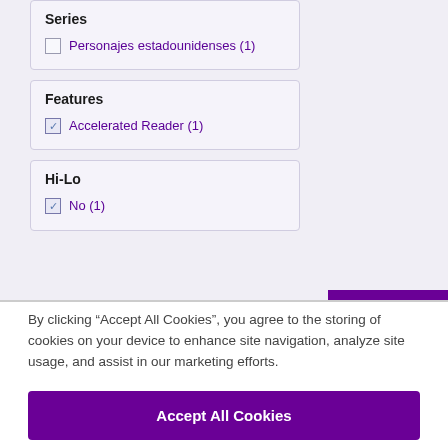Series
Personajes estadounidenses (1)
Features
Accelerated Reader (1)
Hi-Lo
No (1)
By clicking “Accept All Cookies”, you agree to the storing of cookies on your device to enhance site navigation, analyze site usage, and assist in our marketing efforts.
Accept All Cookies
Cookies Settings